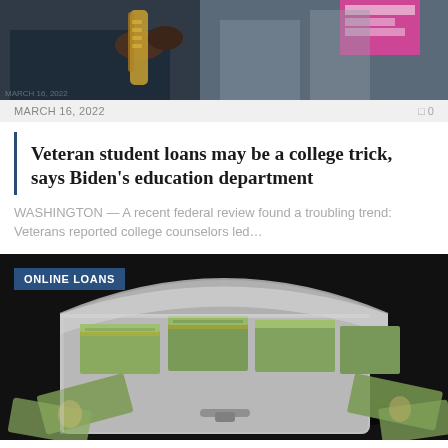[Figure (photo): Person playing saxophone outdoors, with pink sign visible in background]
MARCH 16, 2022   0
Veteran student loans may be a college trick, says Biden's education department
WASHINGTON — A recent federal review found a troubling trend: Veterans reported college counselors led…
[Figure (photo): Silver metal briefcase open and overflowing with stacks of US $100 bills, loose bills scattered around it on dark background. Badge reads ONLINE LOANS.]